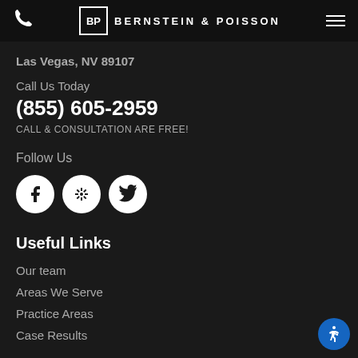Bernstein & Poisson
Las Vegas, NV 89107
Call Us Today
(855) 605-2959
CALL & CONSULTATION ARE FREE!
Follow Us
[Figure (logo): Social media icons: Facebook, Yelp, Twitter]
Useful Links
Our team
Areas We Serve
Practice Areas
Case Results